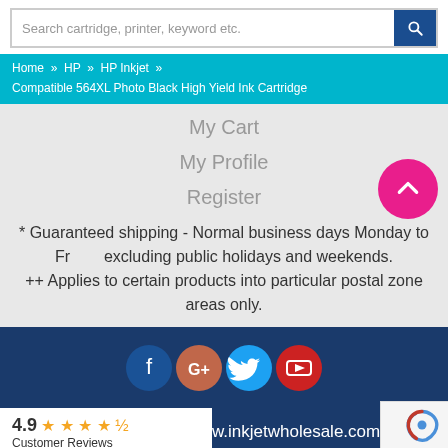Search cartridge, printer, keyword etc.
Home » HP » HP Inkjet » Compatible 564XL Photo Black High Yield Ink Cartridge
My Cart
My Profile
Register
* Guaranteed shipping - Normal business days Monday to Fr... excluding public holidays and weekends.
++ Applies to certain products into particular postal zone areas only.
4.9 Customer Reviews   www.inkjetwholesale.com   Privacy - Terms